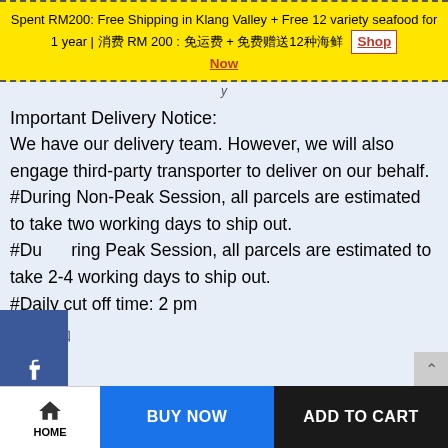Spent RM200: Free Shipping in Klang Valley + Free 12 variety seafood for 1 year | 消费 RM 200 : 免运费 + 免费赠送12种海鲜 Shop Now
Important Delivery Notice:
We have our delivery team. However, we will also engage third-party transporter to deliver on our behalf.
#During Non-Peak Session, all parcels are estimated to take two working days to ship out.
#During Peak Session, all parcels are estimated to take 2-4 working days to ship out.
#Daily cut off time: 2 pm
HOME | BUY NOW | ADD TO CART